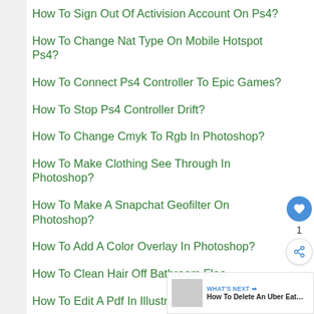How To Sign Out Of Activision Account On Ps4?
How To Change Nat Type On Mobile Hotspot Ps4?
How To Connect Ps4 Controller To Epic Games?
How To Stop Ps4 Controller Drift?
How To Change Cmyk To Rgb In Photoshop?
How To Make Clothing See Through In Photoshop?
How To Make A Snapchat Geofilter On Photoshop?
How To Add A Color Overlay In Photoshop?
How To Clean Hair Off Bathroom Floo…
How To Edit A Pdf In Illustrator?